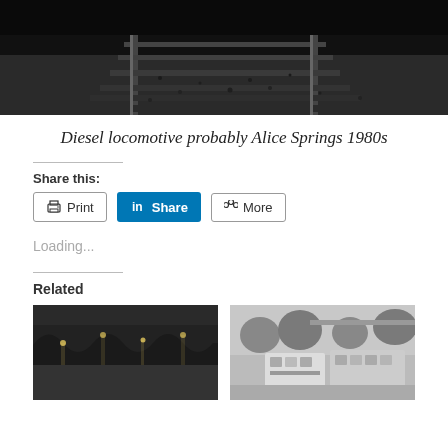[Figure (photo): Black and white photograph showing train tracks and gravel ballast from a low angle]
Diesel locomotive probably Alice Springs 1980s
Share this:
Print  Share  More
Loading...
Related
[Figure (photo): Black and white photograph of a railway station at night]
[Figure (photo): Black and white photograph of trams or buses at a stop with trees]